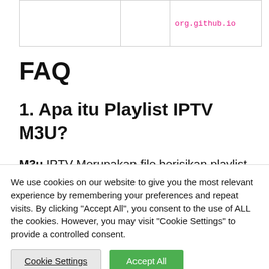|  |  | org.github.io |
FAQ
1. Apa itu Playlist IPTV M3U?
M3u IPTV Merupakan file berisikan playlist dan
We use cookies on our website to give you the most relevant experience by remembering your preferences and repeat visits. By clicking "Accept All", you consent to the use of ALL the cookies. However, you may visit "Cookie Settings" to provide a controlled consent.